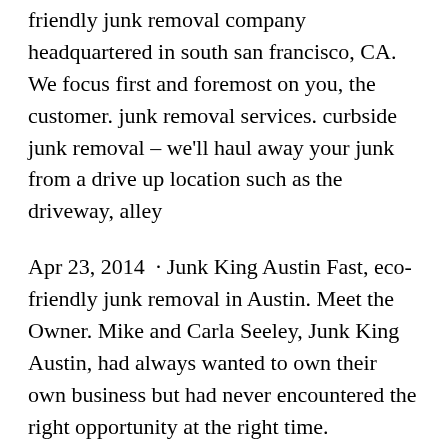friendly junk removal company headquartered in south san francisco, CA. We focus first and foremost on you, the customer. junk removal services. curbside junk removal – we'll haul away your junk from a drive up location such as the driveway, alley
Apr 23, 2014 · Junk King Austin Fast, eco-friendly junk removal in Austin. Meet the Owner. Mike and Carla Seeley, Junk King Austin, had always wanted to own their own business but had never encountered the right opportunity at the right time.
Junk Removal Colorado Springs This year, some 448,755 registered voters will receive a mail ballot, and while it may be tempting to forget it in a stack of junk mail, there are plenty … workforce is educated — including